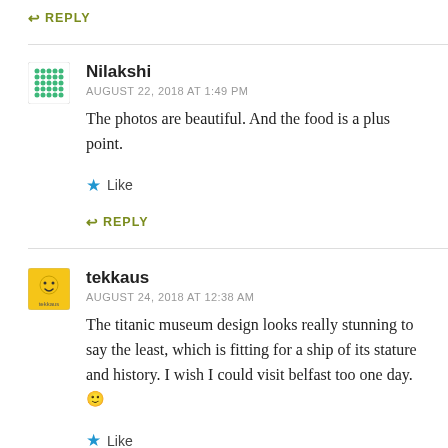↩ REPLY
Nilakshi
AUGUST 22, 2018 AT 1:49 PM
The photos are beautiful. And the food is a plus point.
★ Like
↳ REPLY
tekkaus
AUGUST 24, 2018 AT 12:38 AM
The titanic museum design looks really stunning to say the least, which is fitting for a ship of its stature and history. I wish I could visit belfast too one day. 🙂
★ Like